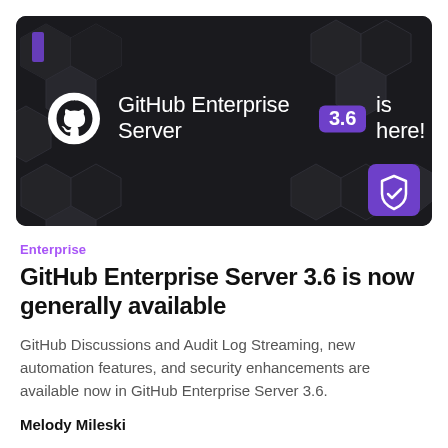[Figure (illustration): Dark banner image with hexagonal geometric pattern background. GitHub Octocat logo on the left in white circle, followed by text 'GitHub Enterprise Server 3.6 is here!' with the version number '3.6' highlighted in a purple badge. A purple shield icon with a checkmark appears in the bottom right corner.]
Enterprise
GitHub Enterprise Server 3.6 is now generally available
GitHub Discussions and Audit Log Streaming, new automation features, and security enhancements are available now in GitHub Enterprise Server 3.6.
Melody Mileski